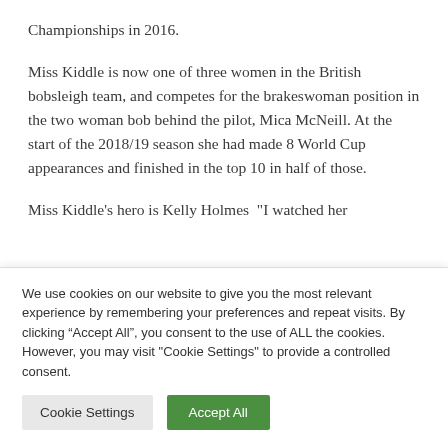Championships in 2016.
Miss Kiddle is now one of three women in the British bobsleigh team, and competes for the brakeswoman position in the two woman bob behind the pilot, Mica McNeill. At the start of the 2018/19 season she had made 8 World Cup appearances and finished in the top 10 in half of those.
Miss Kiddle’s hero is Kelly Holmes “I watched her
We use cookies on our website to give you the most relevant experience by remembering your preferences and repeat visits. By clicking “Accept All”, you consent to the use of ALL the cookies. However, you may visit "Cookie Settings" to provide a controlled consent.